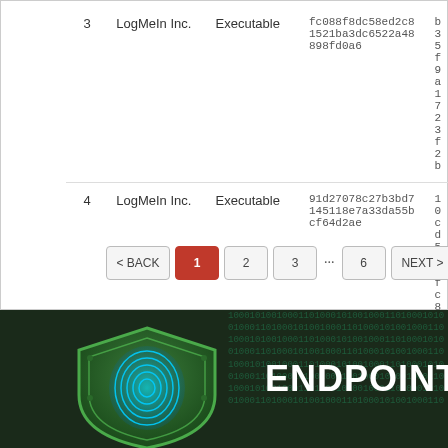| # | Vendor | Type | SHA-256 | SHA-1 |
| --- | --- | --- | --- | --- |
| 3 | LogMeIn Inc. | Executable | fc088f8dc58ed2c81521ba3dc6522a48898fd0a6 | b35f9a...1723f2b... |
| 4 | LogMeIn Inc. | Executable | 91d27078c27b3bd7145118e7a33da55bcf64d2ae | 10cd5e...8fc8203... |
[Figure (screenshot): Pagination control showing BACK, page buttons 1 (active/red), 2, 3, ..., 6, NEXT]
[Figure (illustration): Dark cybersecurity banner with glowing green shield containing fingerprint, hand holding it, and large white text 'ENDPOINT P...' with binary code background]